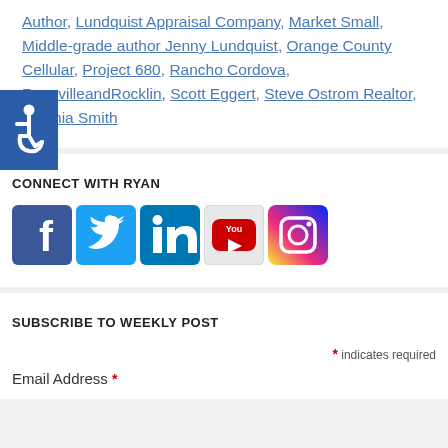Author, Lundquist Appraisal Company, Market Small, Middle-grade author Jenny Lundquist, Orange County Cellular, Project 680, Rancho Cordova, RosevilleandRocklin, Scott Eggert, Steve Ostrom Realtor, Synthia Smith
[Figure (logo): Accessibility wheelchair icon in blue square]
CONNECT WITH RYAN
[Figure (infographic): Social media icons: Facebook, Twitter, LinkedIn, YouTube, Instagram]
SUBSCRIBE TO WEEKLY POST
* indicates required
Email Address *